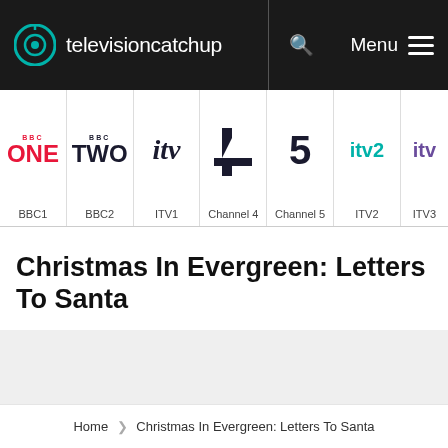televisioncatchup — Menu
[Figure (infographic): Navigation bar with channel logos: BBC1, BBC2, ITV1, Channel 4, Channel 5, ITV2, ITV3]
Christmas In Evergreen: Letters To Santa
[Figure (other): Grey content placeholder area]
Home › Christmas In Evergreen: Letters To Santa